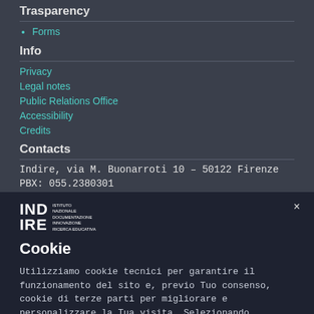Trasparency
Forms
Info
Privacy
Legal notes
Public Relations Office
Accessibility
Credits
Contacts
Indire, via M. Buonarroti 10 – 50122 Firenze
PBX: 055.2380301
[Figure (logo): INDIRE logo with full name text on the right]
Cookie
Utilizziamo cookie tecnici per garantire il funzionamento del sito e, previo Tuo consenso, cookie di terze parti per migliorare e personalizzare la Tua visita. Selezionando